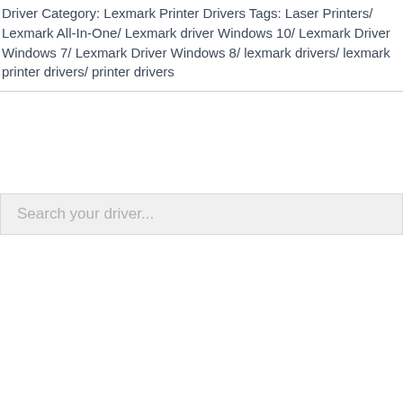Driver Category: Lexmark Printer Drivers Tags: Laser Printers/ Lexmark All-In-One/ Lexmark driver Windows 10/ Lexmark Driver Windows 7/ Lexmark Driver Windows 8/ lexmark drivers/ lexmark printer drivers/ printer drivers
Search your driver...